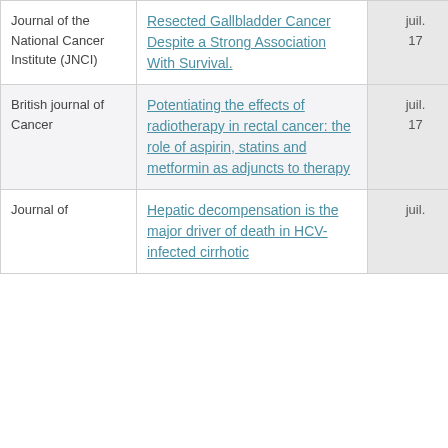| Journal | Article | Date | Likes |
| --- | --- | --- | --- |
| Journal of the National Cancer Institute (JNCI) | Resected Gallbladder Cancer Despite a Strong Association With Survival. | juil. 17 | 2 ♥ |
| British journal of Cancer | Potentiating the effects of radiotherapy in rectal cancer: the role of aspirin, statins and metformin as adjuncts to therapy | juil. 17 | 1 ♥ |
| Journal of | Hepatic decompensation is the major driver of death in HCV-infected cirrhotic | juil. |  |